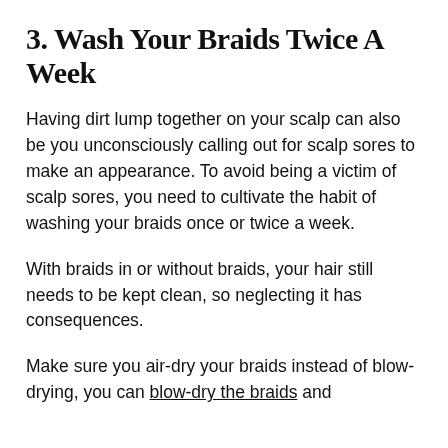3. Wash Your Braids Twice A Week
Having dirt lump together on your scalp can also be you unconsciously calling out for scalp sores to make an appearance. To avoid being a victim of scalp sores, you need to cultivate the habit of washing your braids once or twice a week.
With braids in or without braids, your hair still needs to be kept clean, so neglecting it has consequences.
Make sure you air-dry your braids instead of blow-drying, you can blow-dry the braids and